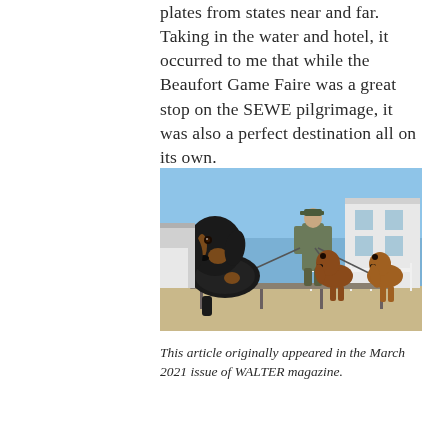plates from states near and far. Taking in the water and hotel, it occurred to me that while the Beaufort Game Faire was a great stop on the SEWE pilgrimage, it was also a perfect destination all on its own.
[Figure (photo): A man in outdoor gear walks three spaniels on a ramp or platform outdoors under a clear blue sky, with a building visible in the background. A large black-and-tan spaniel is prominently in the foreground.]
This article originally appeared in the March 2021 issue of WALTER magazine.